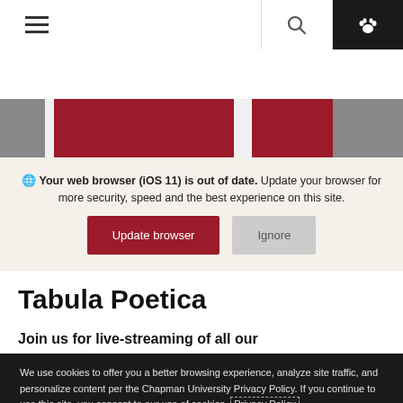[Figure (screenshot): Navigation bar with hamburger menu, search icon, and paw icon on dark background]
[Figure (photo): Hero image strip showing dark grey and crimson red rectangular blocks (website banner images)]
🌐 Your web browser (iOS 11) is out of date. Update your browser for more security, speed and the best experience on this site.
Update browser
Ignore
Tabula Poetica
Join us for live-streaming of all our
We use cookies to offer you a better browsing experience, analyze site traffic, and personalize content per the Chapman University Privacy Policy. If you continue to use this site, you consent to our use of cookies.
Privacy Policy